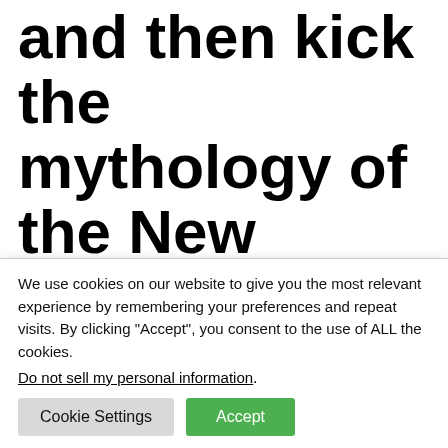and then kick the mythology of the New Gods around a bit
The issue picks up immediately where the last issue left off, with Jason reappearing to Diana and Steve Trevor at
We use cookies on our website to give you the most relevant experience by remembering your preferences and repeat visits. By clicking “Accept”, you consent to the use of ALL the cookies.
Do not sell my personal information.